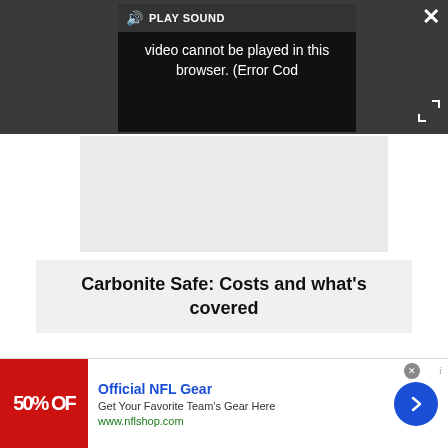[Figure (screenshot): Video player UI with dark grey background. A black video panel shows an error: 'Video cannot be played in this browser. (Error Cod'. A 'PLAY SOUND' button bar is at the top of the video panel. A close (X) button is top-right. An expand/fullscreen button is bottom-right.]
[Figure (screenshot): Light grey advertisement placeholder rectangle below the video player.]
Carbonite Safe: Costs and what's covered
Carbonite has a slightly confusing cost structure,
[Figure (screenshot): Bottom advertisement banner for Official NFL Gear showing '50% OFF' red image, blue title 'Official NFL Gear', description 'Get Your Favorite Team's Gear Here', URL 'www.nflshop.com', and a blue circular arrow button.]